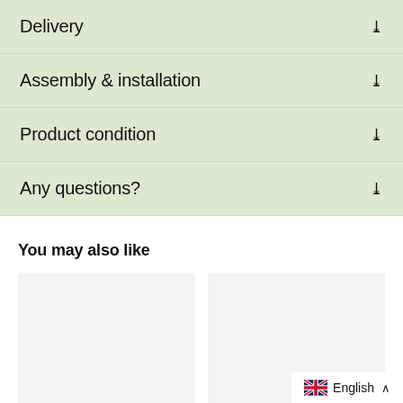Delivery
Assembly & installation
Product condition
Any questions?
You may also like
[Figure (other): Two placeholder product image cards side by side]
English